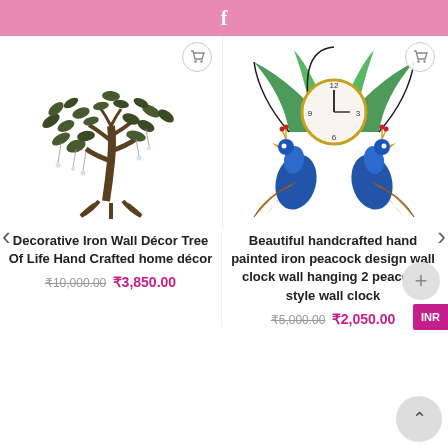f
[Figure (photo): Decorative iron wall art tree of life with leaves and hanging crystals/beads]
Decorative Iron Wall Décor Tree Of Life Hand Crafted home décor
₹10,000.00 ₹3,850.00
[Figure (photo): Beautiful handcrafted hand painted iron peacock design wall clock with two blue peacocks holding a clock]
Beautiful handcrafted hand painted iron peacock design wall clock wall hanging 2 peacock style wall clock
₹5,000.00 ₹2,050.00